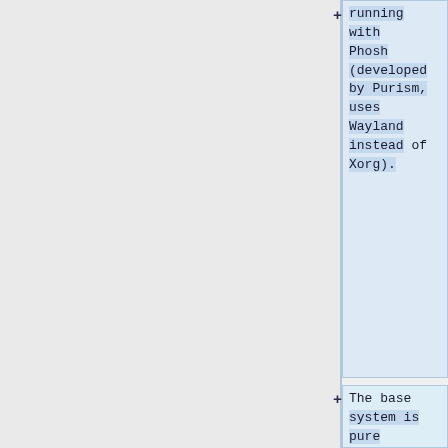running with Phosh (developed by Purism, uses Wayland instead of Xorg).
The base system is pure Debian, with only the GUI applications and a few others (ModemManager, WiFi chip firmware) being built from modified